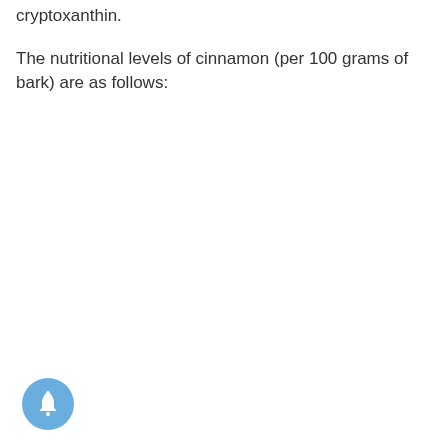cryptoxanthin.
The nutritional levels of cinnamon (per 100 grams of bark) are as follows:
[Figure (other): Blue circular notification bell button icon in the bottom-left corner]